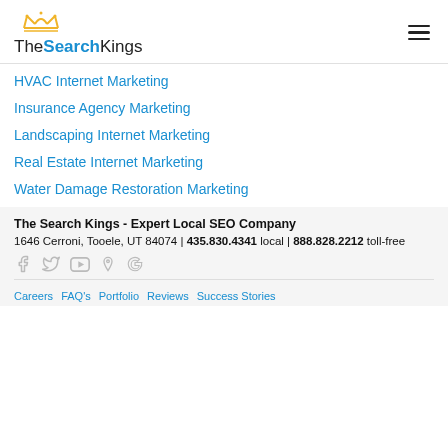[Figure (logo): The Search Kings logo with crown icon and blue Search text]
HVAC Internet Marketing
Insurance Agency Marketing
Landscaping Internet Marketing
Real Estate Internet Marketing
Water Damage Restoration Marketing
The Search Kings - Expert Local SEO Company
1646 Cerroni, Tooele, UT 84074 | 435.830.4341 local | 888.828.2212 toll-free
[Figure (illustration): Social media icons: Facebook, Twitter, YouTube, Yelp, Google]
Careers  FAQ's  Portfolio  Reviews  Success Stories